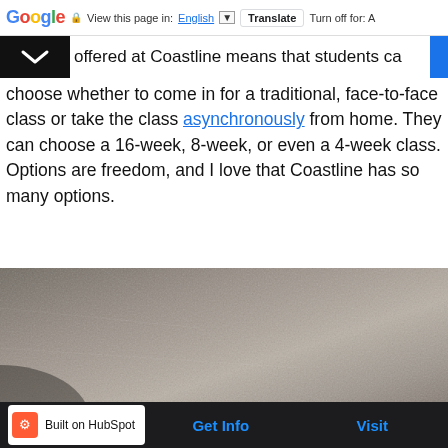Google  View this page in: English [▼]  Translate  Turn off for: A
offered at Coastline means that students can choose whether to come in for a traditional, face-to-face class or take the class asynchronously from home. They can choose a 16-week, 8-week, or even a 4-week class. Options are freedom, and I love that Coastline has so many options.
[Figure (photo): A close-up photo of a textured grey/beige surface, possibly fabric or leather, with soft lighting.]
Built on HubSpot    Get Info    Visit